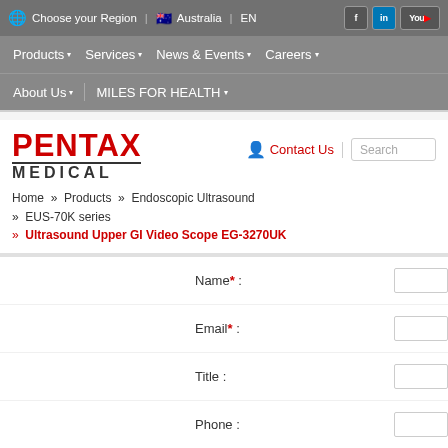Choose your Region | Australia | EN
Products | Services | News & Events | Careers | About Us | MILES FOR HEALTH
[Figure (logo): PENTAX MEDICAL logo in red and dark grey]
Contact Us   Search
Home » Products » Endoscopic Ultrasound » EUS-70K series » Ultrasound Upper GI Video Scope EG-3270UK
Name* :
Email* :
Title :
Phone :
Hospital / Company* :